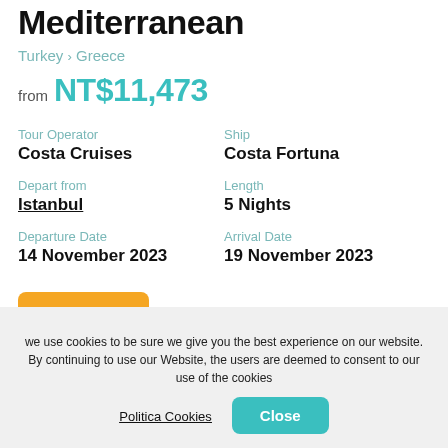Mediterranean
Turkey > Greece
from NT$11,473
Tour Operator: Costa Cruises
Ship: Costa Fortuna
Depart from: Istanbul
Length: 5 Nights
Departure Date: 14 November 2023
Arrival Date: 19 November 2023
Details
we use cookies to be sure we give you the best experience on our website. By continuing to use our Website, the users are deemed to consent to our use of the cookies
Politica Cookies
Close